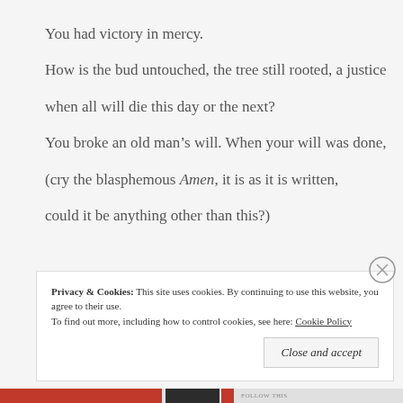You had victory in mercy.
How is the bud untouched, the tree still rooted, a justice
when all will die this day or the next?
You broke an old man’s will. When your will was done,
(cry the blasphemous Amen, it is as it is written,
could it be anything other than this?)
Privacy & Cookies: This site uses cookies. By continuing to use this website, you agree to their use.
To find out more, including how to control cookies, see here: Cookie Policy
Close and accept